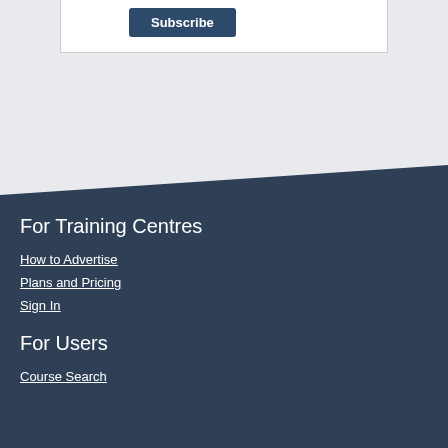[Figure (other): Subscribe button in a white box on a light gray background]
For Training Centres
How to Advertise
Plans and Pricing
Sign In
For Users
Course Search